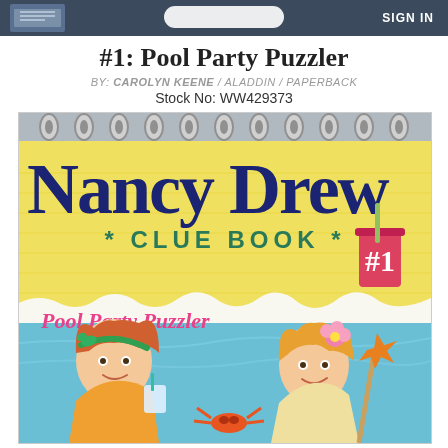SIGN IN
#1: Pool Party Puzzler
BY: CAROLYN KEENE / ALADDIN / PAPERBACK
Stock No: WW429373
[Figure (illustration): Book cover of Nancy Drew Clue Book #1: Pool Party Puzzler. Shows a yellow spiral-bound notebook style cover with large dark blue 'Nancy Drew' text, teal '* CLUE BOOK *' subtitle, pink 'Pool Party Puzzler' title, a pink drink cup with #1 badge, and two illustrated cartoon girls with red/orange hair at a pool.]